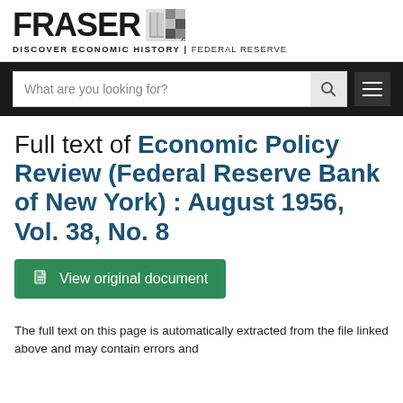[Figure (logo): FRASER logo with wordmark and tagline: DISCOVER ECONOMIC HISTORY | FEDERAL RESERVE]
[Figure (screenshot): Navigation bar with search box placeholder 'What are you looking for?', search icon, and hamburger menu]
Full text of Economic Policy Review (Federal Reserve Bank of New York) : August 1956, Vol. 38, No. 8
[Figure (other): Green button labeled 'View original document' with document icon]
The full text on this page is automatically extracted from the file linked above and may contain errors and